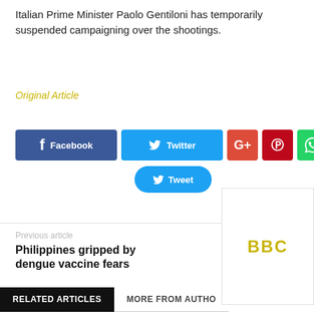Italian Prime Minister Paolo Gentiloni has temporarily suspended campaigning over the shootings.
Original Article
[Figure (other): Social media share buttons: Facebook, Twitter, Google+, Pinterest, WhatsApp, and Tweet button]
Previous article
Next article
Philippines gripped by dengue vaccine fears
VW suspend... over monke...
RELATED ARTICLES
MORE FROM AUTHO
BBC